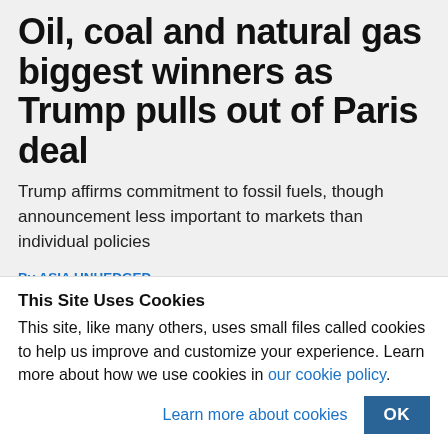Oil, coal and natural gas biggest winners as Trump pulls out of Paris deal
Trump affirms commitment to fossil fuels, though announcement less important to markets than individual policies
By ASIA UNHEDGED
JUNE 2, 2017
[Figure (infographic): Row of social sharing icon buttons: WhatsApp (green), Facebook (blue), Twitter (light blue), LinkedIn (dark blue), Reddit (light gray/orange), Pocket (red), Tumblr (dark navy), Email (gray), Print (light gray)]
This Site Uses Cookies
This site, like many others, uses small files called cookies to help us improve and customize your experience. Learn more about how we use cookies in our cookie policy.
Learn more about cookies   OK